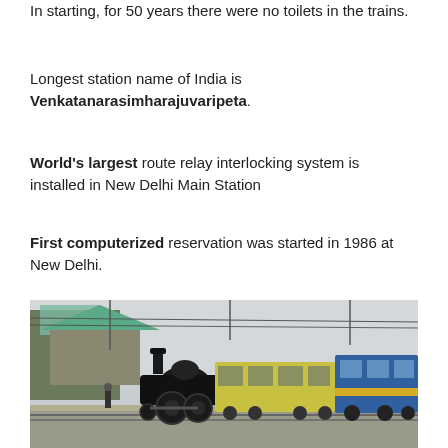In starting, for 50 years there were no toilets in the trains.
Longest station name of India is Venkatanarasimharajuvaripeta.
World's largest route relay interlocking system is installed in New Delhi Main Station
First computerized reservation was started in 1986 at New Delhi.
[Figure (photo): A vintage steam locomotive at a mountain railway station platform, with yellow-green passenger carriages and a blue train car visible. Trees and overhead wires in the background, overcast sky.]